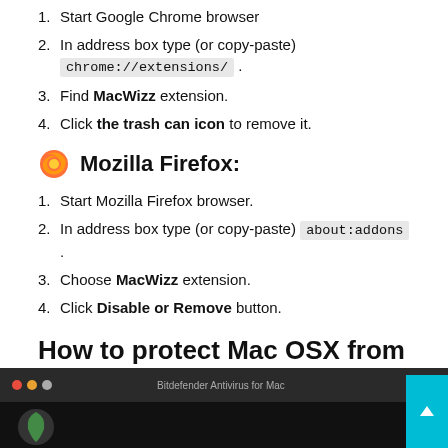1. Start Google Chrome browser
2. In address box type (or copy-paste) chrome://extensions/ .
3. Find MacWizz extension.
4. Click the trash can icon to remove it.
Mozilla Firefox:
1. Start Mozilla Firefox browser.
2. In address box type (or copy-paste) about:addons .
3. Choose MacWizz extension.
4. Click Disable or Remove button.
How to protect Mac OSX from adware like MacWizz
[Figure (screenshot): Screenshot of Bitdefender Antivirus for Mac application window with dark background]